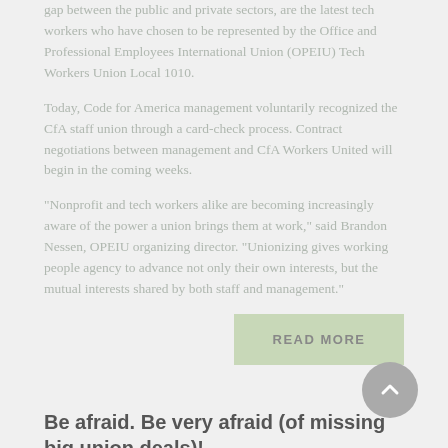gap between the public and private sectors, are the latest tech workers who have chosen to be represented by the Office and Professional Employees International Union (OPEIU) Tech Workers Union Local 1010.
Today, Code for America management voluntarily recognized the CfA staff union through a card-check process. Contract negotiations between management and CfA Workers United will begin in the coming weeks.
"Nonprofit and tech workers alike are becoming increasingly aware of the power a union brings them at work," said Brandon Nessen, OPEIU organizing director. "Unionizing gives working people agency to advance not only their own interests, but the mutual interests shared by both staff and management."
READ MORE
Be afraid. Be very afraid (of missing big union deals)!
Don't let all that union Halloween candy distract you from our end of October deals! Stay focused...and save big!
READ MORE